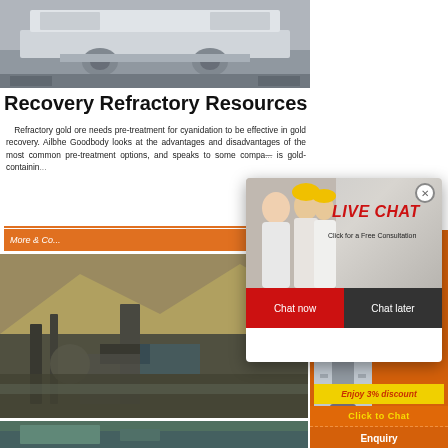[Figure (photo): Industrial vibrating screen / mining machine, white/grey metallic structure in a workshop]
Recovery Refractory Resources
Refractory gold ore needs pre-treatment for cyanidation to be effective in gold recovery. Ailbhe Goodbody looks at the advantages and disadvantages of the most common pre-treatment options, and speaks to some companies about their experiences. Refractory ore is gold-containing...
[Figure (photo): Mining site with large ore mound and industrial equipment]
[Figure (photo): Mining/crushing equipment partially visible at bottom]
[Figure (screenshot): Right sidebar orange panel showing mining equipment thumbnails and discount/chat banners]
[Figure (screenshot): Live chat popup overlay with LIVE CHAT heading, Click for a Free Consultation text, workers in hard hats, Chat now and Chat later buttons]